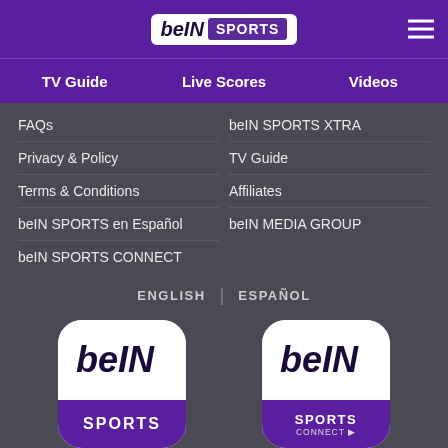[Figure (logo): beIN SPORTS logo in white header bar with purple hamburger menu icon]
TV Guide | Live Scores | Videos
FAQs
beIN SPORTS XTRA
Privacy & Policy
TV Guide
Terms & Conditions
Affiliates
beIN SPORTS en Español
beIN MEDIA GROUP
beIN SPORTS CONNECT
ENGLISH | ESPAÑOL
[Figure (logo): beIN SPORTS app icon]
[Figure (logo): beIN SPORTS CONNECT app icon]
[Figure (screenshot): Download on the App Store button (left)]
[Figure (screenshot): Download on the App Store button (right)]
[Figure (screenshot): GET IT ON Google Play partial button (left)]
[Figure (screenshot): GET IT ON Google Play partial button (right)]